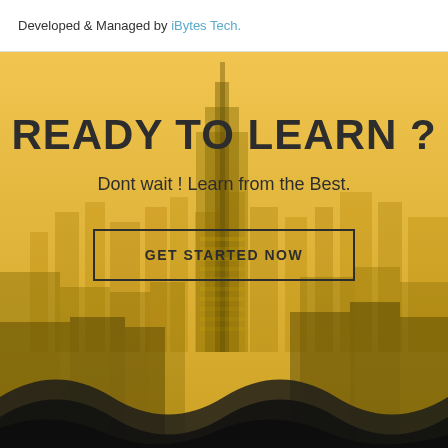Developed & Managed by iBytes Tech.
[Figure (photo): Yellow-tinted aerial view of a city skyline (New York City) with skyscrapers including the Empire State Building, with dark wave shapes at the bottom]
READY TO LEARN ?
Dont wait ! Learn from the Best.
GET STARTED NOW